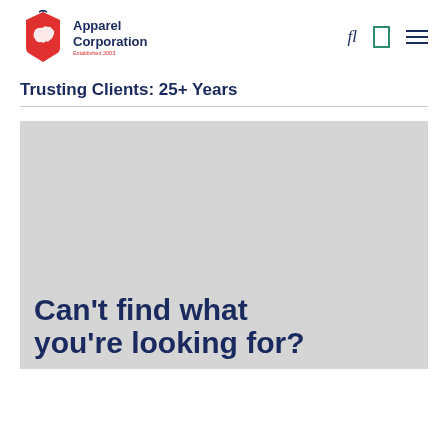[Figure (logo): Apparel Corporation logo with red price tag icon and Australia map silhouette, navy blue text reading 'Apparel Corporation', red subtext 'Established 2003']
Trusting Clients: 25+ Years
[Figure (illustration): Large light gray panel/banner area with dark navy bold text at the bottom reading "Can't find what you're looking for?"]